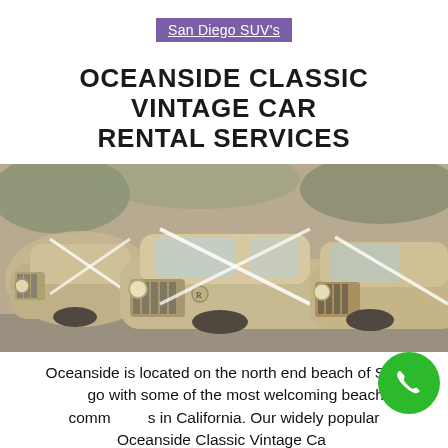San Diego SUV's
OCEANSIDE CLASSIC VINTAGE CAR RENTAL SERVICES
[Figure (photo): Row of classic vintage cars, gold/cream colored with chrome grilles and ribbon decorations, parked together outdoors]
Oceanside is located on the north end beach of San Diego with some of the most welcoming beach communities in California. Our widely popular Oceanside Classic Vintage Car Rental Services with h...